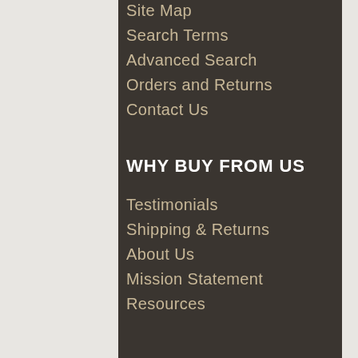Site Map
Search Terms
Advanced Search
Orders and Returns
Contact Us
WHY BUY FROM US
Testimonials
Shipping & Returns
About Us
Mission Statement
Resources
BBB ACCREDITED
[Figure (logo): BBB Accredited business logo with black background and blue S shield icon showing 'ACCREDITED' text, alongside 'BBB Rating: A+' text]